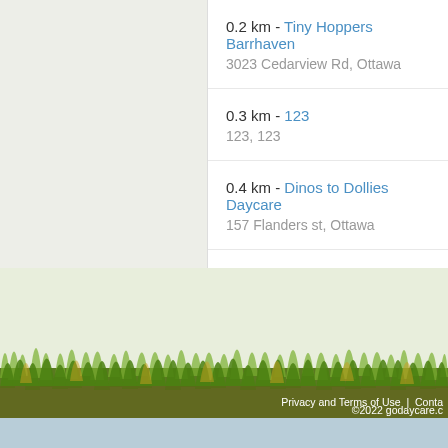0.2 km - Tiny Hoppers Barrhaven
3023 Cedarview Rd, Ottawa
0.3 km - 123
123, 123
0.4 km - Dinos to Dollies Daycare
157 Flanders st, Ottawa
0.4 km - Educara Montessori Child Ca
275 Tartan Drive, Nepean
©2022 godaycare.c
Privacy and Terms of Use  |  Conta